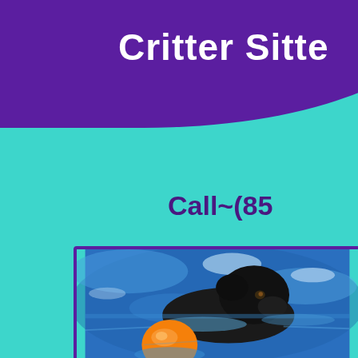Critter Sitter
Call~(85...
[Figure (photo): Black Labrador dog swimming in a blue pool toward an orange ball, photo framed with purple border]